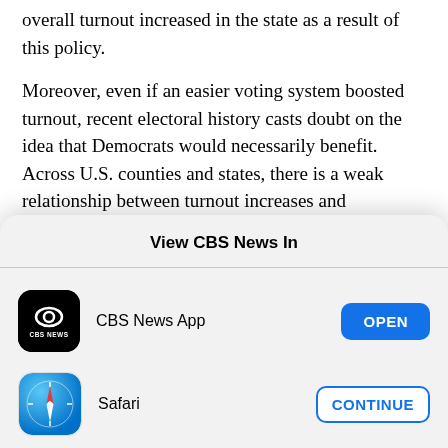overall turnout increased in the state as a result of this policy.
Moreover, even if an easier voting system boosted turnout, recent electoral history casts doubt on the idea that Democrats would necessarily benefit. Across U.S. counties and states, there is a weak relationship between turnout increases and Democratic gains in 2020 (see chart below). Another reason for pause is that people who turned out in
View CBS News In
[Figure (logo): CBS News app icon - black background with CBS eye logo and CBS NEWS text]
CBS News App
[Figure (logo): Safari browser icon - compass with red needle on blue/white gradient background]
Safari